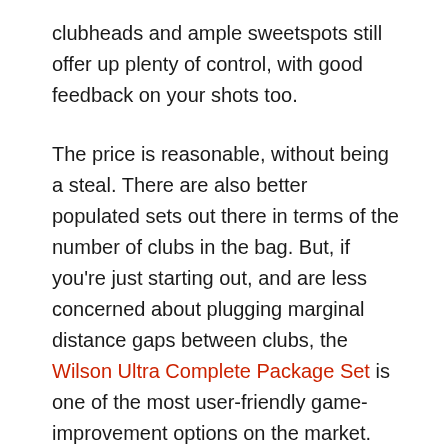clubheads and ample sweetspots still offer up plenty of control, with good feedback on your shots too.
The price is reasonable, without being a steal. There are also better populated sets out there in terms of the number of clubs in the bag. But, if you're just starting out, and are less concerned about plugging marginal distance gaps between clubs, the Wilson Ultra Complete Package Set is one of the most user-friendly game-improvement options on the market.
This brand is a leader in the beginner golf club domain, and has consistently set the pace. This